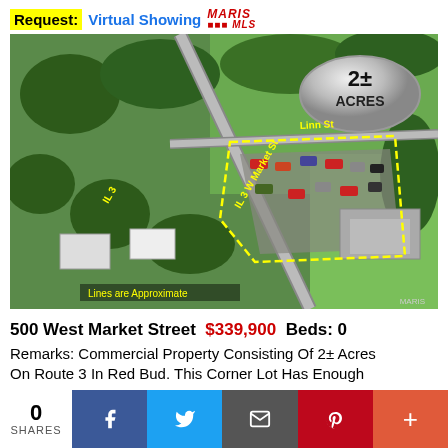Request: Virtual Showing MARIS MLS
[Figure (photo): Aerial drone photograph of commercial property at 500 West Market Street showing approximately 2+ acres at corner lot intersection, with yellow dashed boundary lines marking the property, a silver oval badge reading '2± ACRES', street labels IL 3, W Market St, and Linn St visible, and 'Lines are Approximate' text in bottom left corner.]
500 West Market Street  $339,900  Beds: 0
Remarks: Commercial Property Consisting Of 2± Acres On Route 3 In Red Bud. This Corner Lot Has Enough
0
SHARES